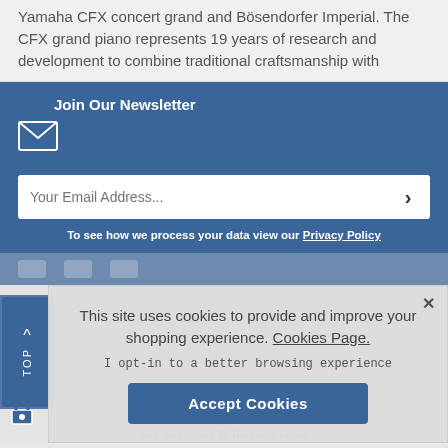Yamaha CFX concert grand and Bösendorfer Imperial. The CFX grand piano represents 19 years of research and development to combine traditional craftsmanship with
Join Our Newsletter
Your Email Address...
To see how we process your data view our Privacy Policy
This site uses cookies to provide and improve your shopping experience. Cookies Page.
I opt-in to a better browsing experience
Accept Cookies
^ TOP
Sell Your Piano To Rimmers Music